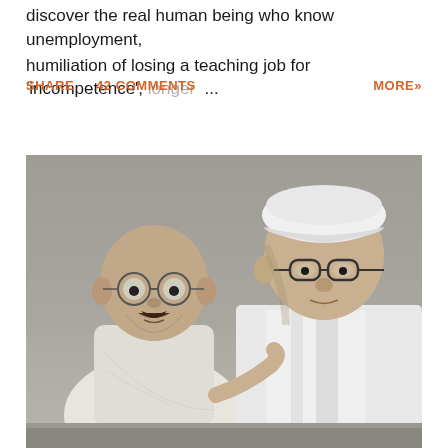discover the real human being who know unemployment, humiliation of losing a teaching job for 'incompetence', longer ...
SHARE   42 COMMENTS   MORE»
[Figure (photo): Black and white photograph of two men, one on the left appearing to be Mahatma Gandhi (bald, with round spectacles, wearing white dhoti), and one on the right wearing a white cap and glasses, with a dark tie/strap visible.]